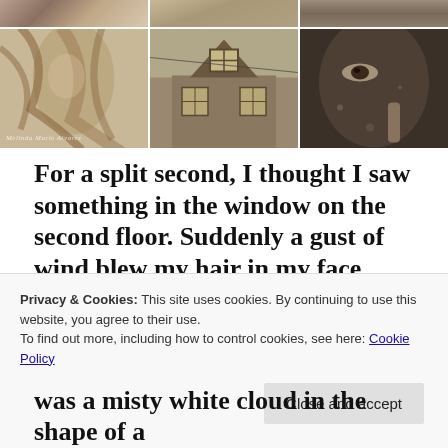[Figure (photo): A 2-row, 3-column collage of sepia-toned photographs. Top row shows partial cropped images. Bottom row shows: a woman with windblown hair (left), a Victorian-style house exterior (center), a close-up of a face with finger near lips (right). A cursive watermark reads 'Melinda Marie Alvarez' on the bottom-left photo.]
For a split second, I thought I saw something in the window on the second floor. Suddenly a gust of wind blew my hair in my face, and I couldn't see. I pulled my hair away from my eyes, and that's when I saw it. I froze. I
Privacy & Cookies: This site uses cookies. By continuing to use this website, you agree to their use.
To find out more, including how to control cookies, see here: Cookie Policy
was a misty white cloud in the shape of a